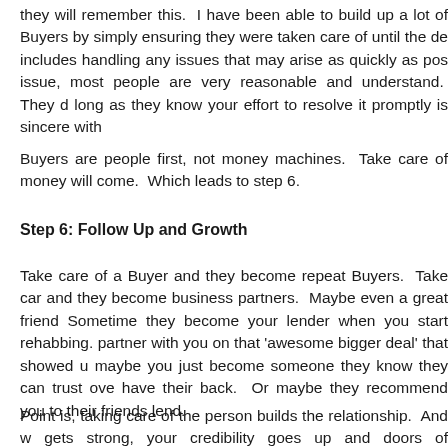they will remember this.  I have been able to build up a lot of Buyers by simply ensuring they were taken care of until the de includes handling any issues that may arise as quickly as pos issue, most people are very reasonable and understand.  They d long as they know your effort to resolve it promptly is sincere with
Buyers are people first, not money machines.  Take care of money will come.  Which leads to step 6.
Step 6: Follow Up and Growth
Take care of a Buyer and they become repeat Buyers.  Take car and they become business partners.  Maybe even a great friend Sometime they become your lender when you start rehabbing. partner with you on that 'awesome bigger deal' that showed u maybe you just become someone they know they can trust ove have their back.  Or maybe they recommend you to their friends lend.
Point is, taking care of the person builds the relationship.  And w gets strong, your credibility goes up and doors of opportunity op